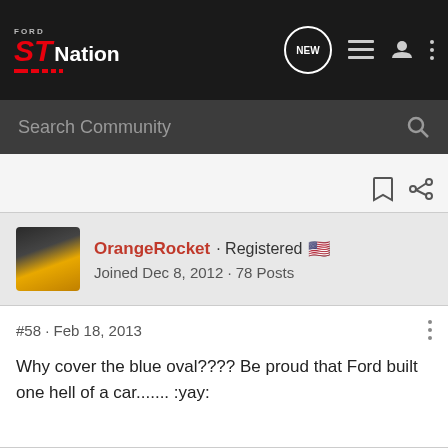Ford ST Nation
Search Community
OrangeRocket · Registered
Joined Dec 8, 2012 · 78 Posts
#58 · Feb 18, 2013
Why cover the blue oval???? Be proud that Ford built one hell of a car....... :yay: